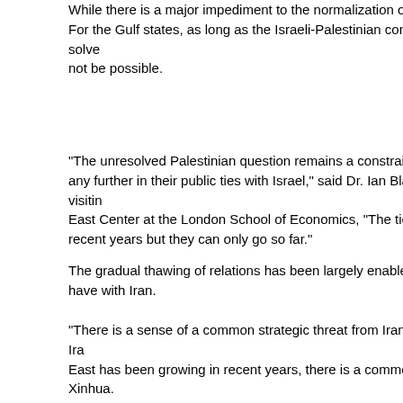While there is a major impediment to the normalization of ties and t... For the Gulf states, as long as the Israeli-Palestinian conflict is solve... not be possible.
"The unresolved Palestinian question remains a constraint on the a... any further in their public ties with Israel," said Dr. Ian Black, a visitin... East Center at the London School of Economics, "The ties have be... recent years but they can only go so far."
The gradual thawing of relations has been largely enabled by the gr... have with Iran.
"There is a sense of a common strategic threat from Iran...as the Ir... East has been growing in recent years, there is a common interest i... Xinhua.
"The more they disconnect from Iran, the closer they become to Isra... from Department of Political Science of Hebrew University of Jerusa...
In an unprecedented event last year, Netanyahu participated in a co... with officials from the Gulf states. The conference, headed by the U...